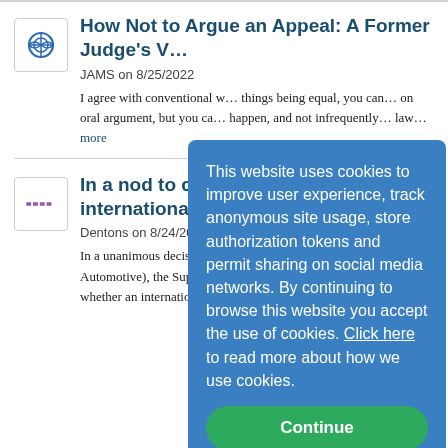How Not to Argue an Appeal: A Former Judge's V...
JAMS on 8/25/2022
I agree with conventional w... things being equal, you can ... on oral argument, but you ca... happen, and not infrequently... law...more
In a nod to comi... Court limits disc... international ar...
Dentons on 8/24/2022
In a unanimous decision in Z... Luxshare, LTD., 142 S. Ct 2... Automotive), the Supreme C... longstanding circuit split on whether an international arbitral tribunal as petitioner...
This website uses cookies to improve user experience, track anonymous site usage, store authorization tokens and permit sharing on social media networks. By continuing to browse this website you accept the use of cookies. Click here to read more about how we use cookies.
Continue